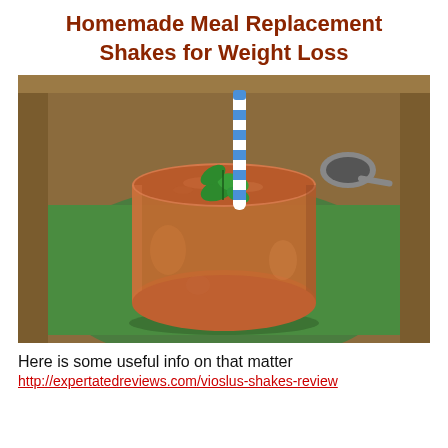Homemade Meal Replacement Shakes for Weight Loss
[Figure (photo): A brown/chocolate smoothie shake in a round glass, garnished with fresh mint leaves and a blue-and-white striped straw, placed on a green cloth napkin on a wooden tray with a spoon visible in the background.]
Here is some useful info on that matter
http://expertatedreviews.com/vioslus-shakes-review